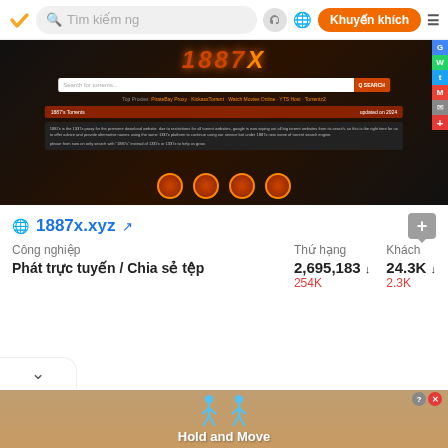Tìm kiếm ng | Khuyến khích
[Figure (screenshot): Screenshot of 1887x.xyz torrent website showing search bar, orange site header, description text, and circular social share icons]
1887x.xyz
| Công nghiệp | Thứ hạng | Khách |
| --- | --- | --- |
| Phát trực tuyến / Chia sẻ tệp | 2,695,183 ↓ 254K | 24.3K ↓ 2.3K |
[Figure (screenshot): Advertisement banner showing Hold and Move game with blue stick figures on sandy background]